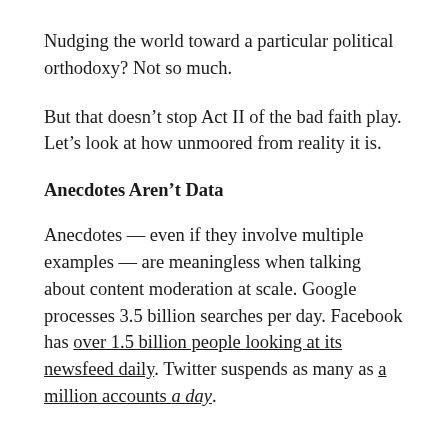Nudging the world toward a particular political orthodoxy? Not so much.
But that doesn't stop Act II of the bad faith play. Let's look at how unmoored from reality it is.
Anecdotes Aren't Data
Anecdotes — even if they involve multiple examples — are meaningless when talking about content moderation at scale. Google processes 3.5 billion searches per day. Facebook has over 1.5 billion people looking at its newsfeed daily. Twitter suspends as many as a million accounts a day.